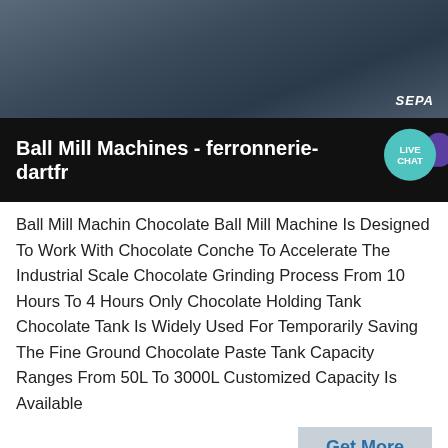[Figure (photo): Industrial ball mill machinery, overhead view with blue motors and equipment]
Ball Mill Machines - ferronnerie-dartfr
Ball Mill Machin Chocolate Ball Mill Machine Is Designed To Work With Chocolate Conche To Accelerate The Industrial Scale Chocolate Grinding Process From 10 Hours To 4 Hours Only Chocolate Holding Tank Chocolate Tank Is Widely Used For Temporarily Saving The Fine Ground Chocolate Paste Tank Capacity Ranges From 50L To 3000L Customized Capacity Is Available
Get More
[Figure (photo): Industrial facility interior with large rounded equipment structure under a steel roof]